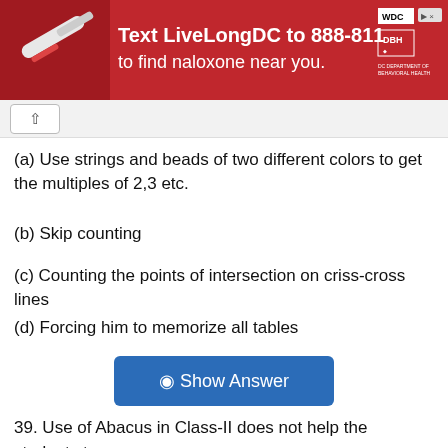[Figure (other): Red advertisement banner with text 'Text LiveLongDC to 888-811 to find naloxone near you.' with DC and DBH logos on the right and a photo of a medical item on the left.]
(a) Use strings and beads of two different colors to get the multiples of 2,3 etc.
(b) Skip counting
(c) Counting the points of intersection on criss-cross lines
(d) Forcing him to memorize all tables
[Figure (other): Blue 'Show Answer' button with an eye icon]
39. Use of Abacus in Class-II does not help the students to